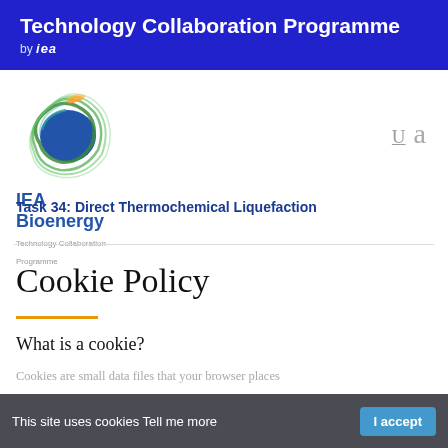Technology Collaboration Programme by IEA
[Figure (logo): IEA Bioenergy Technology Collaboration Programme circular logo with blue, green, and orange elements]
Task 34: Direct Thermochemical Liquefaction
Cookie Policy
What is a cookie?
Cookies are small data files that your browser places
This site uses cookies Tell me more